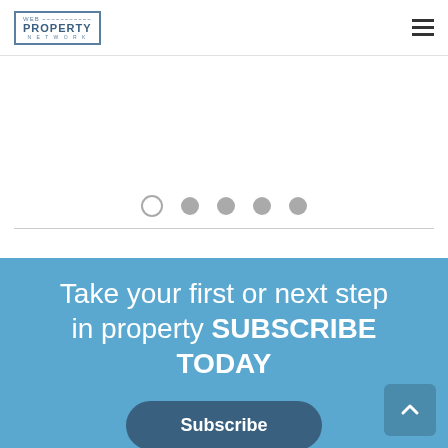WEB PROPERTY NETWORK
[Figure (other): Carousel/slider navigation dots — one open circle (active) and four filled grey circles]
Take your first or next step in property SUBSCRIBE TODAY
[Figure (other): Subscribe button — dark blue/teal rounded pill button with white text 'Subscribe']
[Figure (other): Back to top button — dark teal square with rounded corners, upward chevron arrow icon]